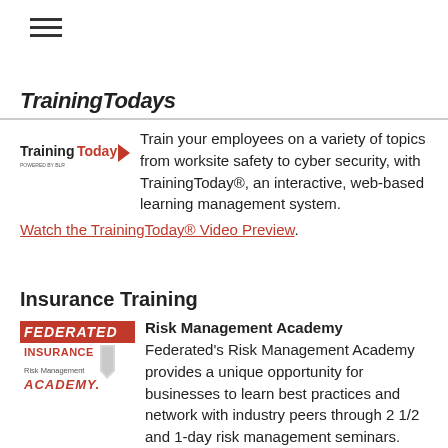[Figure (logo): Hamburger menu icon (three horizontal lines)]
TrainingTodays
[Figure (logo): TrainingToday logo with red arrow]
Train your employees on a variety of topics from worksite safety to cyber security, with TrainingToday®, an interactive, web-based learning management system. Watch the TrainingToday® Video Preview.
Insurance Training
[Figure (logo): Federated Insurance Risk Management Academy logo]
Risk Management Academy
Federated's Risk Management Academy provides a unique opportunity for businesses to learn best practices and network with industry peers through 2 1/2 and 1-day risk management seminars.
Learn More and Attend a Seminar